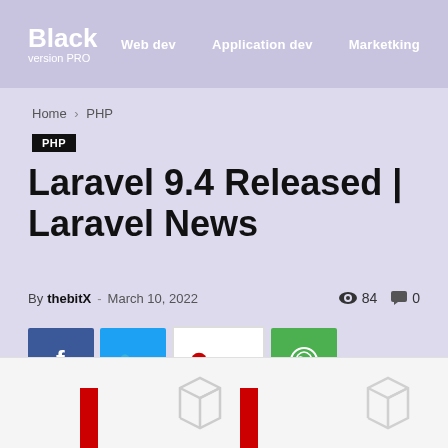Black version PRO   Web dev   Application dev   Marketking
Home › PHP
PHP
Laravel 9.4 Released | Laravel News
By thebitX - March 10, 2022   84   0
[Figure (screenshot): Social sharing buttons: Facebook (blue), Twitter (cyan), Pinterest Save (white/red), WhatsApp (green)]
[Figure (photo): Bottom partial image showing white background with red bar elements and gray box icons]